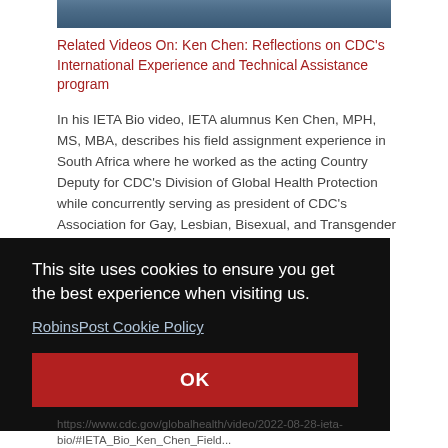[Figure (photo): Partial photo strip at top showing a person in blue clothing, cropped]
Related Videos On: Ken Chen: Reflections on CDC's International Experience and Technical Assistance program
In his IETA Bio video, IETA alumnus Ken Chen, MPH, MS, MBA, describes his field assignment experience in South Africa where he worked as the acting Country Deputy for CDC's Division of Global Health Protection while concurrently serving as president of CDC's Association for Gay, Lesbian, Bisexual, and Transgender Employees (GLOBE). Ken explains that he initially thought that his
This site uses cookies to ensure you get the best experience when visiting us.
RobinsPost Cookie Policy
OK
https://www.cdc.gov/globalhealth/video/2022-08-28-ieta-bio/#IETA_Bio_Ken_Chen_Field...